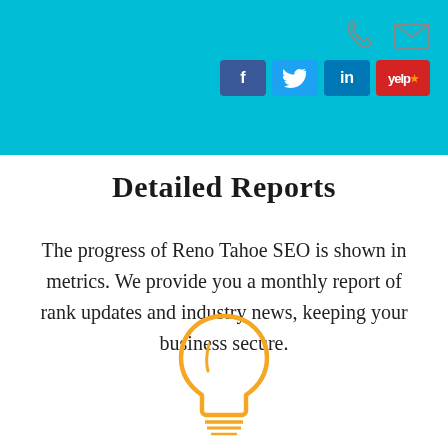Detailed Reports
The progress of Reno Tahoe SEO is shown in metrics. We provide you a monthly report of rank updates and industry news, keeping your business secure.
[Figure (illustration): Orange outlined lightbulb icon]